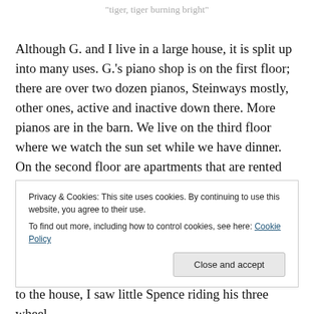"tiger, tiger burning bright"
Although G. and I live in a large house, it is split up into many uses. G.'s piano shop is on the first floor; there are over two dozen pianos, Steinways mostly, other ones, active and inactive down there. More pianos are in the barn. We live on the third floor where we watch the sun set while we have dinner. On the second floor are apartments that are rented out, often to grad students and post-docs at UMass Medical School which is nearby. Our current
to the house, I saw little Spence riding his three wheel